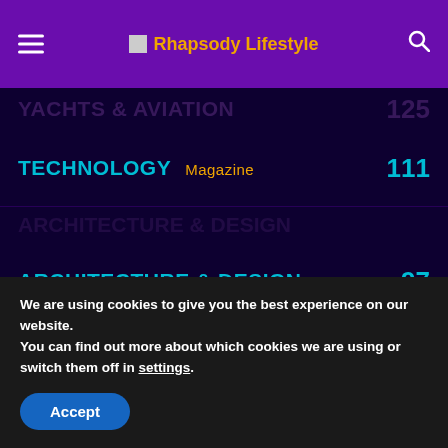Rhapsody Lifestyle
YACHTS & AVIATION  125
TECHNOLOGY  111
ARCHITECTURE & DESIGN  97
FASHION & BEAUTY  59
PEOPLE/INTERVIEWS  42
We are using cookies to give you the best experience on our website.
You can find out more about which cookies we are using or switch them off in settings.
Accept